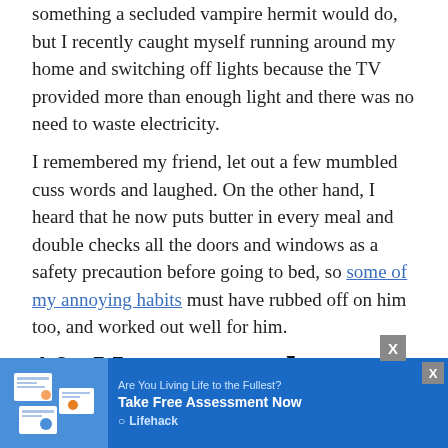something a secluded vampire hermit would do, but I recently caught myself running around my home and switching off lights because the TV provided more than enough light and there was no need to waste electricity.
I remembered my friend, let out a few mumbled cuss words and laughed. On the other hand, I heard that he now puts butter in every meal and double checks all the doors and windows as a safety precaution before going to bed, so some of my annoying habits must have rubbed off on him too, and worked out well for him.
10. No matter how hard you screw up, you'll alw
[Figure (other): Advertisement banner for Lifehack: 'Are You Living Life to the Fullest? Take Free Assessment Now' with a blue background, document thumbnails on the left, and the Lifehack logo on the right.]